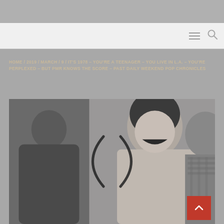Navigation bar with hamburger menu and search icon
HOME / 2019 / MARCH / 9 / IT'S 1978 – YOU'RE A TEENAGER – YOU LIVE IN L.A. – YOU'RE PERPLEXED – BUT PMR KNOWS THE SCORE – PAST DAILY WEEKEND POP CHRONICLES
[Figure (photo): Black and white photograph of two young women laughing, one with long dark hair, overlaid with a loading spinner (two curved parenthesis-like arcs) in the center. A red back-to-top button with a white chevron arrow appears in the lower right corner.]